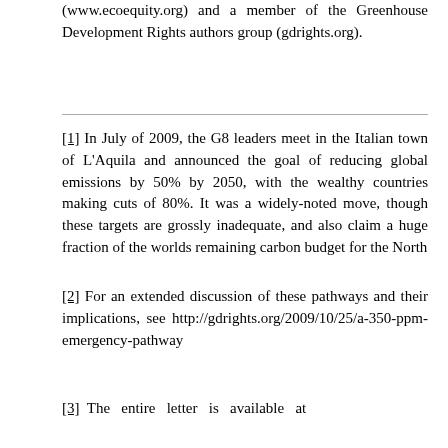(www.ecoequity.org) and a member of the Greenhouse Development Rights authors group (gdrights.org).
[1] In July of 2009, the G8 leaders meet in the Italian town of L'Aquila and announced the goal of reducing global emissions by 50% by 2050, with the wealthy countries making cuts of 80%. It was a widely-noted move, though these targets are grossly inadequate, and also claim a huge fraction of the worlds remaining carbon budget for the North
[2] For an extended discussion of these pathways and their implications, see http://gdrights.org/2009/10/25/a-350-ppm-emergency-pathway
[3] The entire letter is available at